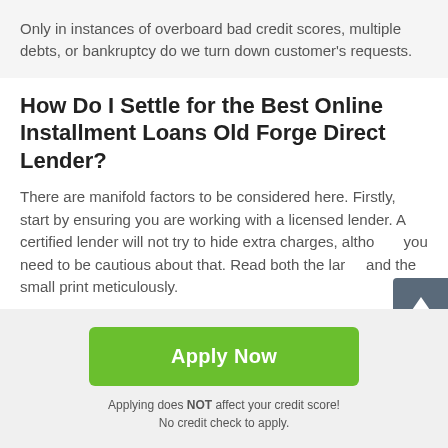Only in instances of overboard bad credit scores, multiple debts, or bankruptcy do we turn down customer's requests.
How Do I Settle for the Best Online Installment Loans Old Forge Direct Lender?
There are manifold factors to be considered here. Firstly, start by ensuring you are working with a licensed lender. A certified lender will not try to hide extra charges, although you need to be cautious about that. Read both the large and the small print meticulously.
Apply Now
Applying does NOT affect your credit score!
No credit check to apply.